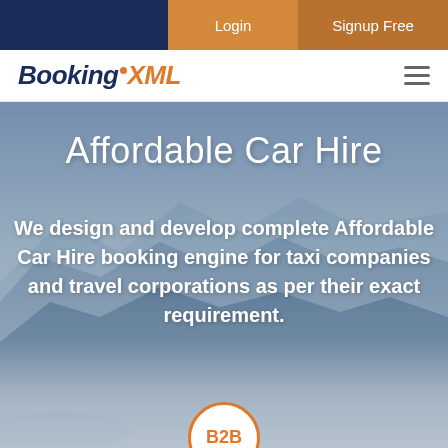Login | Signup Free
BookingXML
Affordable Car Hire
We design and develop complete Affordable Car Hire booking engine for taxi companies and travel corporations as per their exact requirement.
[Figure (logo): B2B badge circle at bottom of hero image]